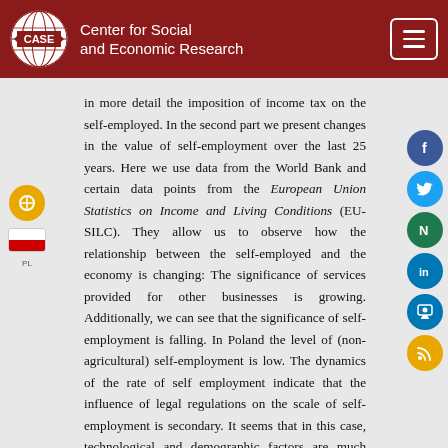Center for Social and Economic Research
in more detail the imposition of income tax on the self-employed. In the second part we present changes in the value of self-employment over the last 25 years. Here we use data from the World Bank and certain data points from the European Union Statistics on Income and Living Conditions (EU-SILC). They allow us to observe how the relationship between the self-employed and the economy is changing: The significance of services provided for other businesses is growing. Additionally, we can see that the significance of self-employment is falling. In Poland the level of (non-agricultural) self-employment is low. The dynamics of the rate of self employment indicate that the influence of legal regulations on the scale of self-employment is secondary. It seems that in this case, technological and demographic factors are much more significant.